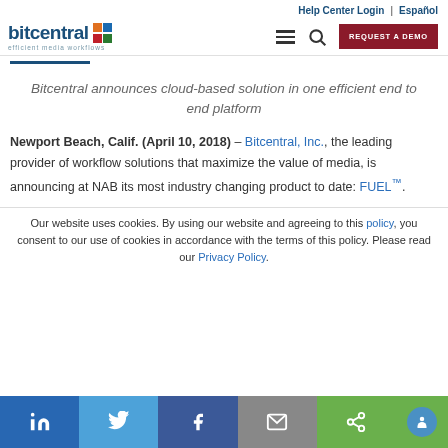Help Center Login | Español
[Figure (logo): Bitcentral logo with colored squares and tagline 'efficient media workflows']
Bitcentral announces cloud-based solution in one efficient end to end platform
Newport Beach, Calif. (April 10, 2018) – Bitcentral, Inc., the leading provider of workflow solutions that maximize the value of media, is announcing at NAB its most industry changing product to date: FUEL™.
Our website uses cookies. By using our website and agreeing to this policy, you consent to our use of cookies in accordance with the terms of this policy. Please read our Privacy Policy.